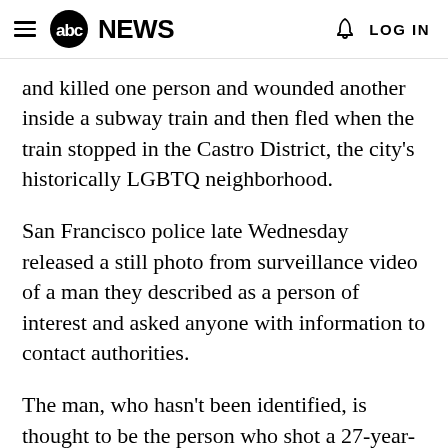abc NEWS  LOG IN
and killed one person and wounded another inside a subway train and then fled when the train stopped in the Castro District, the city's historically LGBTQ neighborhood.
San Francisco police late Wednesday released a still photo from surveillance video of a man they described as a person of interest and asked anyone with information to contact authorities.
The man, who hasn't been identified, is thought to be the person who shot a 27-year-old man to death and wounded a 70-year-old man as the train departed the Forest Hill